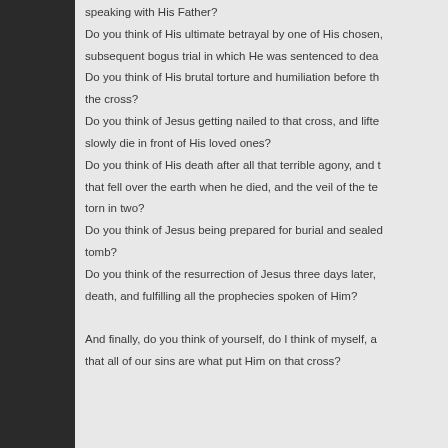speaking with His Father? Do you think of His ultimate betrayal by one of His chosen, and the subsequent bogus trial in which He was sentenced to death? Do you think of His brutal torture and humiliation before the cross? Do you think of Jesus getting nailed to that cross, and lifted up to slowly die in front of His loved ones? Do you think of His death after all that terrible agony, and the darkness that fell over the earth when he died, and the veil of the temple being torn in two? Do you think of Jesus being prepared for burial and sealed in a tomb? Do you think of the resurrection of Jesus three days later, conquering death, and fulfilling all the prophecies spoken of Him?
And finally, do you think of yourself, do I think of myself, and knowing that all of our sins are what put Him on that cross?